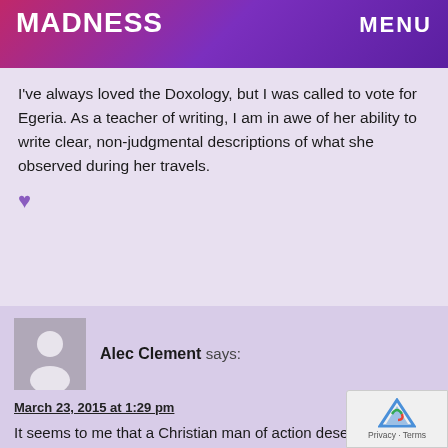MADNESS   MENU
I've always loved the Doxology, but I was called to vote for Egeria. As a teacher of writing, I am in awe of her ability to write clear, non-judgmental descriptions of what she observed during her travels.
Alec Clement says:
March 23, 2015 at 1:29 pm
It seems to me that a Christian man of action deserves a vote. A man of conviction who , apparently never Wavered despite those wo opposed him and ultimately deprived him of his ecclesiastical Position. Deo gratias.